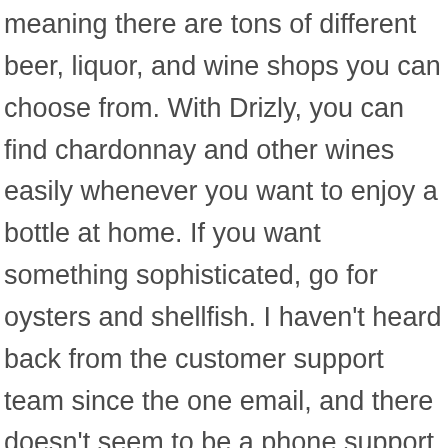meaning there are tons of different beer, liquor, and wine shops you can choose from. With Drizly, you can find chardonnay and other wines easily whenever you want to enjoy a bottle at home. If you want something sophisticated, go for oysters and shellfish. I haven't heard back from the customer support team since the one email, and there doesn't seem to be a phone support line (which, as a separate point, is crazy to me). [4], Drizly was founded by Nick Rellas, Justin Robinson, and Spencer Frazier[5] in 2012. Go ahead. Drizly offers a huge selection and competitive pricing with a side of personalized content. Area served: Select U.S. cities: Akron, Austin, Baltimore, ... Drizly is an alcohol e-commerce platform that facilitates the delivery of alcohol. The most important thing was providing Drizly service to those that didn't have on-demand